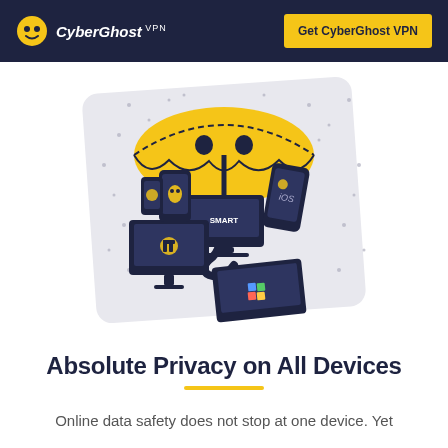CyberGhost VPN | Get CyberGhost VPN
[Figure (illustration): Illustration of a yellow cartoon umbrella with smiley face eyes shielding multiple devices (smartphone, tablet, Linux device, smart TV, Apple iOS device, desktop iMac, and Windows laptop) from rain, representing multi-device privacy protection. Background is a slanted grey rectangle with rain dots.]
Absolute Privacy on All Devices
Online data safety does not stop at one device. Yet